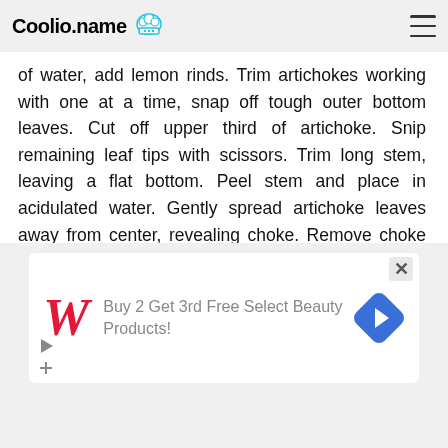Coolio.name
of water, add lemon rinds. Trim artichokes working with one at a time, snap off tough outer bottom leaves. Cut off upper third of artichoke. Snip remaining leaf tips with scissors. Trim long stem, leaving a flat bottom. Peel stem and place in acidulated water. Gently spread artichoke leaves away from center, revealing choke. Remove choke with a spoon and discard. Place artichoke in acidulated water. Repeat with remaining artichokes.
[Figure (infographic): Walgreens advertisement: Buy 2 Get 3rd Free Select Beauty Products!]